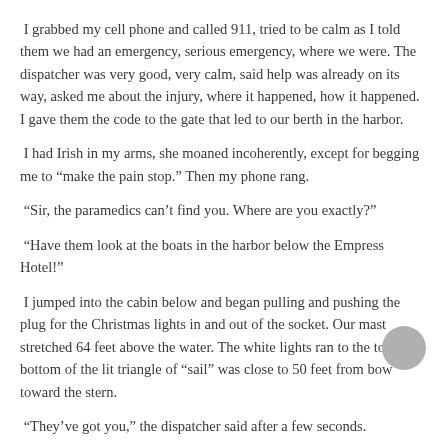I grabbed my cell phone and called 911, tried to be calm as I told them we had an emergency, serious emergency, where we were. The dispatcher was very good, very calm, said help was already on its way, asked me about the injury, where it happened, how it happened. I gave them the code to the gate that led to our berth in the harbor.
I had Irish in my arms, she moaned incoherently, except for begging me to “make the pain stop.” Then my phone rang.
“Sir, the paramedics can’t find you. Where are you exactly?”
“Have them look at the boats in the harbor below the Empress Hotel!”
I jumped into the cabin below and began pulling and pushing the plug for the Christmas lights in and out of the socket. Our mast stretched 64 feet above the water. The white lights ran to the top. The bottom of the lit triangle of “sail” was close to 50 feet from bow toward the stern.
“They’ve got you,” the dispatcher said after a few seconds.
I stayed below and put all her medications in a bag, an extra set of